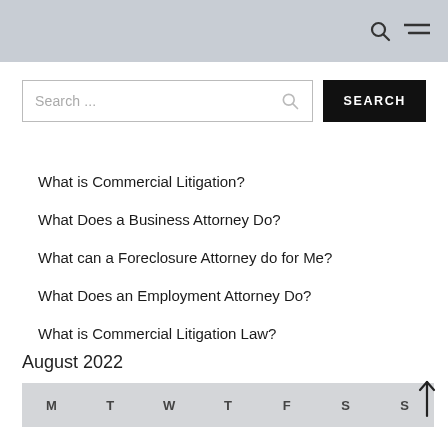Search icon and menu icon
Search ...
SEARCH
What is Commercial Litigation?
What Does a Business Attorney Do?
What can a Foreclosure Attorney do for Me?
What Does an Employment Attorney Do?
What is Commercial Litigation Law?
August 2022
| M | T | W | T | F | S | S |
| --- | --- | --- | --- | --- | --- | --- |